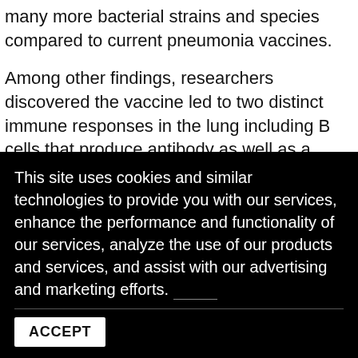many more bacterial strains and species compared to current pneumonia vaccines.
Among other findings, researchers discovered the vaccine led to two distinct immune responses in the lung including B cells that produce antibody as well as a population of T-cells that secrete IL-17, also known as Th17 cells.
“These T-cells mechanically signal to structural cells in the airway, augmenting their ability to call in additional
This site uses cookies and similar technologies to provide you with our services, enhance the performance and functionality of our services, analyze the use of our products and services, and assist with our advertising and marketing efforts.
ACCEPT